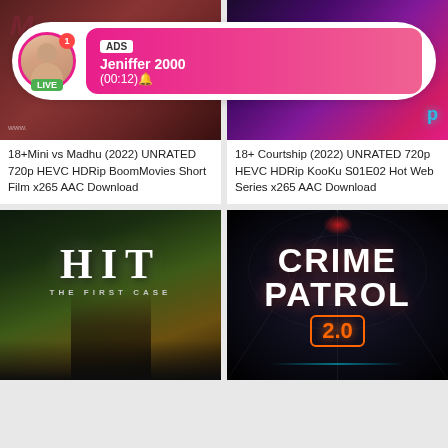[Figure (screenshot): Mobile app screenshot showing movie download site with notification overlay. Top left card shows adult content thumbnail with 'M' logo. Top right shows colorful party/club scene thumbnail. A notification popup overlays both showing 'ADS Jeniffer 2000 (00:12)' with LIVE badge and avatar. Bottom left shows 'HIT - The First Case' movie poster. Bottom right shows 'Crime Patrol 2.0' poster.]
18+Mini vs Madhu (2022) UNRATED 720p HEVC HDRip BoomMovies Short Film x265 AAC Download
18+ Courtship (2022) UNRATED 720p HEVC HDRip KooKu S01E02 Hot Web Series x265 AAC Download